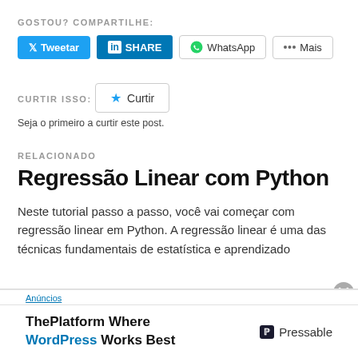GOSTOU? COMPARTILHE:
[Figure (other): Social share buttons: Tweetar (Twitter/blue), SHARE (LinkedIn/blue), WhatsApp, Mais]
CURTIR ISSO:
[Figure (other): Curtir button with star icon]
Seja o primeiro a curtir este post.
RELACIONADO
Regressão Linear com Python
Neste tutorial passo a passo, você vai começar com regressão linear em Python. A regressão linear é uma das técnicas fundamentais de estatística e aprendizado
Anúncios
[Figure (other): Ad banner: ThePlatform Where WordPress Works Best — Pressable]